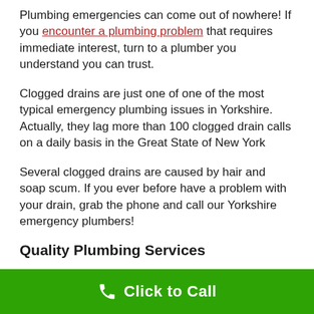Plumbing emergencies can come out of nowhere! If you encounter a plumbing problem that requires immediate interest, turn to a plumber you understand you can trust.
Clogged drains are just one of one of the most typical emergency plumbing issues in Yorkshire. Actually, they lag more than 100 clogged drain calls on a daily basis in the Great State of New York
Several clogged drains are caused by hair and soap scum. If you ever before have a problem with your drain, grab the phone and call our Yorkshire emergency plumbers!
Quality Plumbing Services
We provide top quality workmanship and materials, prompt installation, and timely reaction to emergencies.
Click to Call